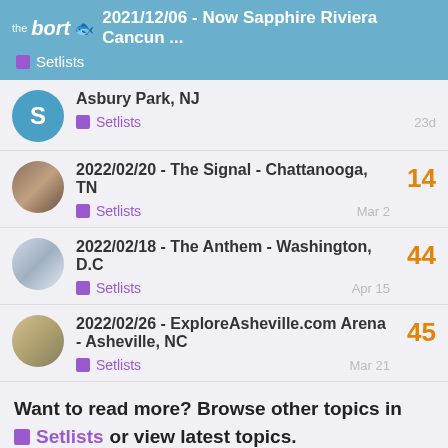2021/12/06 - Now Sapphire Riviera Cancun ...
Asbury Park, NJ
Setlists  23d
2022/02/20 - The Signal - Chattanooga, TN
14
Setlists  Mar 2
2022/02/18 - The Anthem - Washington, D.C
44
Setlists  Apr 15
2022/02/26 - ExploreAsheville.com Arena - Asheville, NC
45
Setlists  Mar 21
Want to read more? Browse other topics in
Setlists or view latest topics.